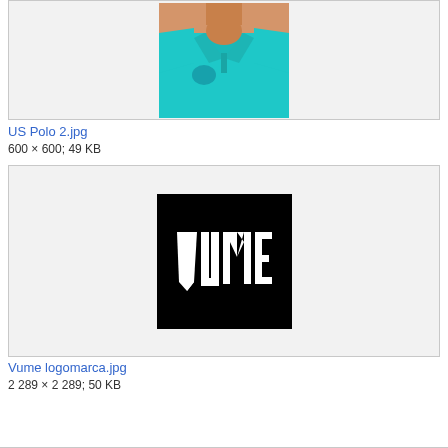[Figure (photo): A teal/turquoise polo shirt worn by a person, cropped view showing torso and collar area with a logo on the chest]
US Polo 2.jpg
600 × 600; 49 KB
[Figure (logo): Black square image with white text reading VUME in tall narrow letters]
Vume logomarca.jpg
2 289 × 2 289; 50 KB